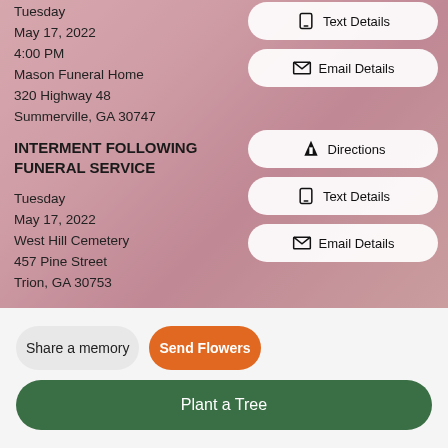Tuesday
May 17, 2022
4:00 PM
Mason Funeral Home
320 Highway 48
Summerville, GA 30747
Text Details
Email Details
INTERMENT FOLLOWING FUNERAL SERVICE
Tuesday
May 17, 2022
West Hill Cemetery
457 Pine Street
Trion, GA 30753
Directions
Text Details
Email Details
Share a memory
Send Flowers
Plant a Tree